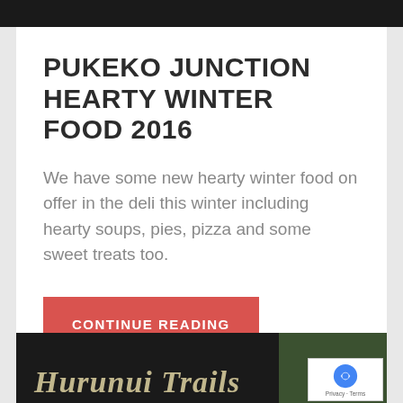PUKEKO JUNCTION HEARTY WINTER FOOD 2016
We have some new hearty winter food on offer in the deli this winter including hearty soups, pies, pizza and some sweet treats too.
CONTINUE READING
[Figure (photo): Bottom section showing dark background with stylized italic text 'Hurunui Trails' and a thumbnail image of a landscape/trail scene on the right side. A reCAPTCHA badge appears in the bottom right corner.]